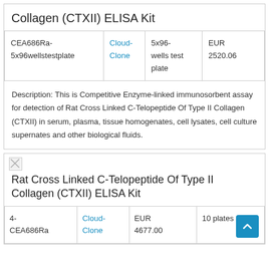Collagen (CTXII) ELISA Kit
|  |  |  |  |
| --- | --- | --- | --- |
| CEA686Ra-5x96wellstestplate | Cloud-Clone | 5x96-wells test plate | EUR 2520.06 |
Description: This is Competitive Enzyme-linked immunosorbent assay for detection of Rat Cross Linked C-Telopeptide Of Type II Collagen (CTXII) in serum, plasma, tissue homogenates, cell lysates, cell culture supernates and other biological fluids.
[Figure (other): Broken image icon placeholder]
Rat Cross Linked C-Telopeptide Of Type II Collagen (CTXII) ELISA Kit
|  |  |  |  |
| --- | --- | --- | --- |
| 4-CEA686Ra | Cloud-Clone | EUR 4677.00 | 10 plates of 96 |